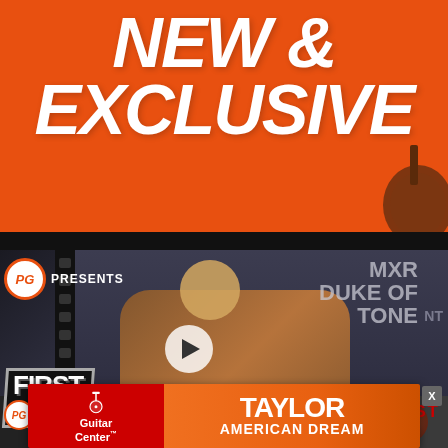NEW & EXCLUSIVE
[Figure (screenshot): Video thumbnail: PG Presents - MXR Duke of Tone First Look, man with guitar, play button overlay]
LATEST
[Figure (screenshot): PG Presents video thumbnail strip at bottom]
[Figure (advertisement): Guitar Center advertisement banner featuring Taylor American Dream]
TAYLOR AMERICAN DREAM